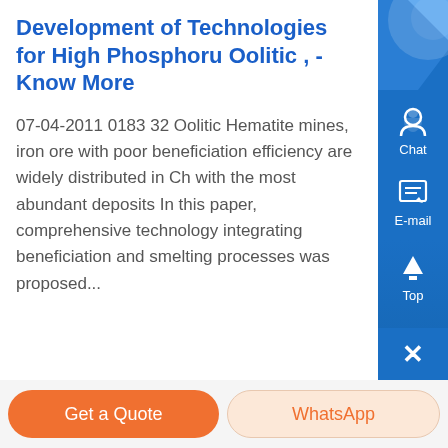Development of Technologies for High Phosphoru Oolitic , - Know More
07-04-2011 0183 32 Oolitic Hematite mines, iron ore with poor beneficiation efficiency are widely distributed in Ch with the most abundant deposits In this paper, comprehensive technology integrating beneficiation and smelting processes was proposed...
[Figure (photo): Industrial facility interior showing heavy machinery and equipment, workers visible in orange, blurred industrial environment]